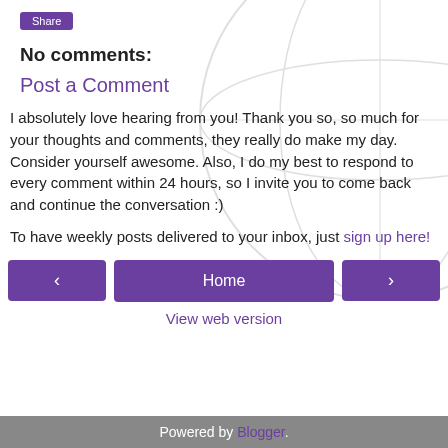Share
No comments:
Post a Comment
I absolutely love hearing from you! Thank you so, so much for your thoughts and comments, they really do make my day. Consider yourself awesome. Also, I do my best to respond to every comment within 24 hours, so I invite you to come back and continue the conversation :)
To have weekly posts delivered to your inbox, just sign up here!
Home
View web version
Powered by Blogger.